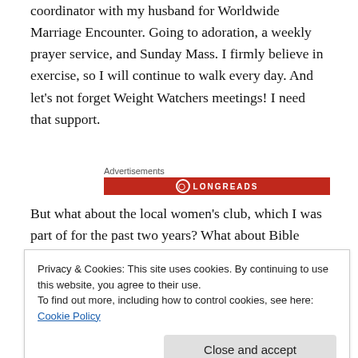coordinator with my husband for Worldwide Marriage Encounter. Going to adoration, a weekly prayer service, and Sunday Mass. I firmly believe in exercise, so I will continue to walk every day. And let’s not forget Weight Watchers meetings! I need that support.
Advertisements
[Figure (logo): Longreads red banner advertisement logo]
But what about the local women’s club, which I was part of for the past two years? What about Bible Study, which is taught at a local convent by an extremely knowledgeable
Privacy & Cookies: This site uses cookies. By continuing to use this website, you agree to their use.
To find out more, including how to control cookies, see here: Cookie Policy
Close and accept